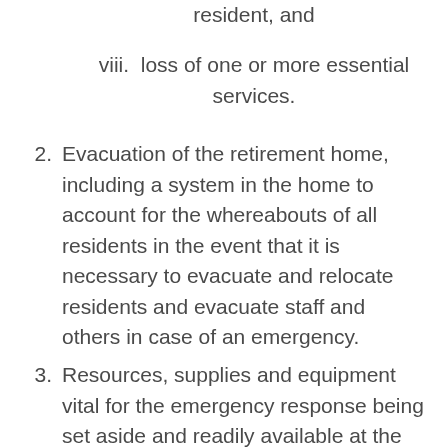resident, and
viii.  loss of one or more essential services.
2.  Evacuation of the retirement home, including a system in the home to account for the whereabouts of all residents in the event that it is necessary to evacuate and relocate residents and evacuate staff and others in case of an emergency.
3.  Resources, supplies and equipment vital for the emergency response being set aside and readily available at the retirement home and regular testing of all